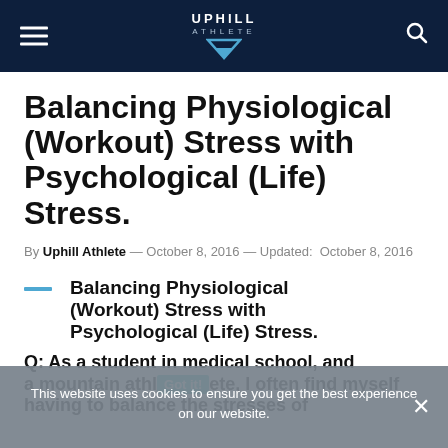UPHILL ATHLETE
Balancing Physiological (Workout) Stress with Psychological (Life) Stress.
By Uphill Athlete — October 8, 2016 — Updated: October 8, 2016
Balancing Physiological (Workout) Stress with Psychological (Life) Stress.
Q: As a student in medical school, and a mountain athlete, I often find myself having to balance the stresses of
This website uses cookies to ensure you get the best experience on our website.